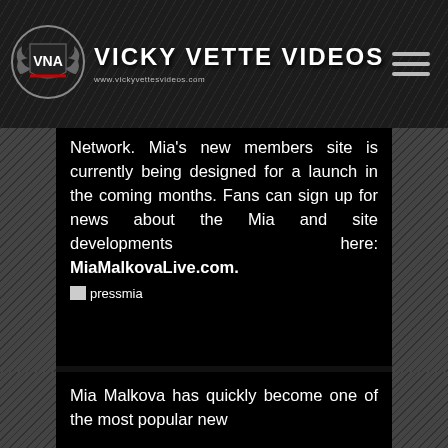[Figure (logo): Vicky Vette Videos website header with VNA badge logo and hamburger menu icon. Site title reads 'VICKY VETTE VIDEOS' with URL www.vickyvettesvideos.com]
Network. Mia's new members site is currently being designed for a launch in the coming months. Fans can sign up for news about the Mia and site developments here: MiaMalkovaLive.com.
[Figure (photo): pressmia image placeholder with broken image icon]
Mia Malkova has quickly become one of the most popular new